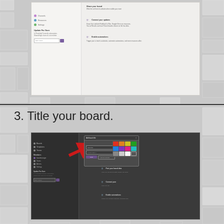[Figure (screenshot): Screenshot showing a web interface form with sidebar navigation items and numbered steps on the right side for setting up a board. Light/white background.]
3. Title your board.
[Figure (screenshot): Dark-themed screenshot showing the same interface with a popup dialog for adding a board title, with a red arrow pointing to the board title input field. Color selection grid visible in the popup. The background shows numbered steps and form fields.]